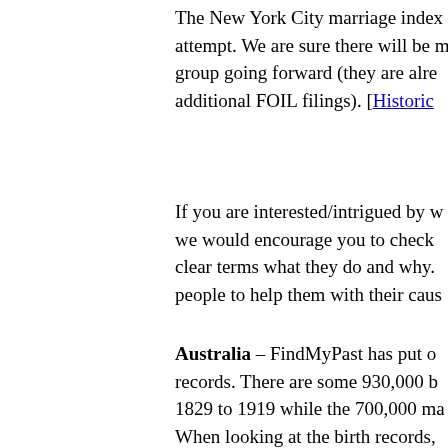The New York City marriage index attempt. We are sure there will be more group going forward (they are already additional FOIL filings). [Historic
If you are interested/intrigued by what we would encourage you to check out in clear terms what they do and why. people to help them with their cause.
Australia – FindMyPast has put on records. There are some 930,000 births 1829 to 1919 while the 700,000 marriage When looking at the birth records, registrations in Queensland were not Therefore, it is perfectly possible to have 1856 who does not have an official Queensland was part of New South complete list of when different records various parts of Australia, please see